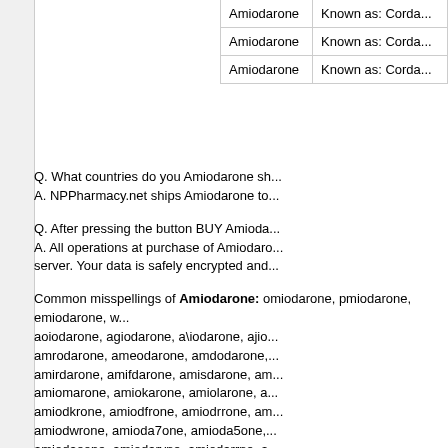| Drug | Info |
| --- | --- |
| Amiodarone | Known as: Corda... |
| Amiodarone | Known as: Corda... |
| Amiodarone | Known as: Corda... |
Q. What countries do you Amiodarone sh... A. NPPharmacy.net ships Amiodarone to...
Q. After pressing the button BUY Amioda... A. All operations at purchase of Amiodaro... server. Your data is safely encrypted and...
Common misspellings of Amiodarone: omiodarone, pmiodarone, emiodarone, w... aoiodarone, agiodarone, aliodarone, ajio... amrodarone, ameodarone, amdodarone,... amirdarone, amifdarone, amisdarone, am... amiomarone, amiokarone, amiolarone, a... amiodkrone, amiodfrone, amiodrrone, am... amiodwrone, amioda7one, amioda5one,... amiodaeone, amiodarvne, amiodatrne, a... amiodarane, amiodarlne, amiodarome, a... amiodarooe, amiodarowe, amiodaro;e, a... amiodarond, amiodaronk, amiodarons, a...
Pharmacy news UPDATED: Aug 29, 122 Infertile Men Could Become Fathers With... Artificially replica ... More info...